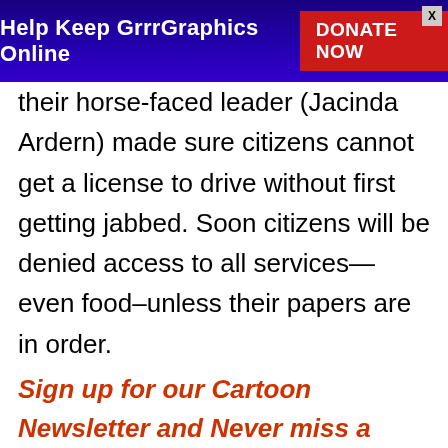Help Keep GrrrGraphics Online  DONATE NOW
their horse-faced leader (Jacinda Ardern) made sure citizens cannot get a license to drive without first getting jabbed. Soon citizens will be denied access to all services—even food–unless their papers are in order.
Sign up for our Cartoon Newsletter and Never miss a cartoon- click to join
It will only get worse if We The People don't fight back. If we don't, we'll soon have to endure permanent medical tyranny with